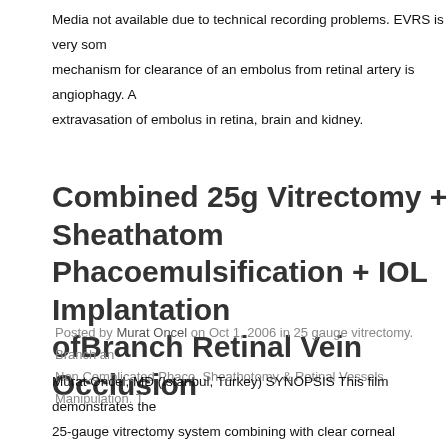Media not available due to technical recording problems. EVRS is very som mechanism for clearance of an embolus from retinal artery is angiophagy. A extravasation of embolus in retina, brain and kidney.
Combined 25g Vitrectomy + Sheathotom Phacoemulsification + IOL Implantation ofBranch Retinal Vein Occlusion
Posted by Murat Oncel on Oct 1, 2006 in 25 gauge vitrectomy. Branch an Non Complicated Phaco. Sheathotomy & Retinal Vessels Manipulation. T
Murat Oncel, MD (Istanbul, Turkey) SYNOPSIS This film demonstrates the 25-gauge vitrectomy system combining with clear corneal phacoemulsificat implantation. Sheathotomy was performed either using a special knife or ni blue-assisted peeling of the internal limiting membrane in branch retinal vei